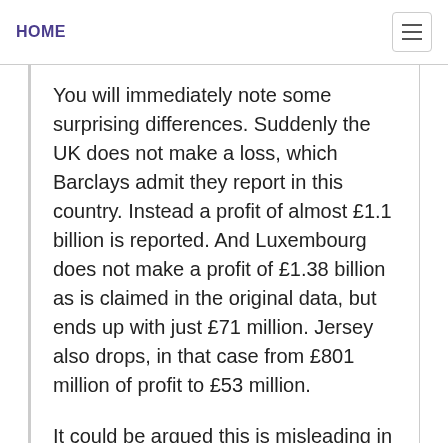HOME
You will immediately note some surprising differences. Suddenly the UK does not make a loss, which Barclays admit they report in this country. Instead a profit of almost £1.1 billion is reported. And Luxembourg does not make a profit of £1.38 billion as is claimed in the original data, but ends up with just £71 million. Jersey also drops, in that case from £801 million of profit to £53 million.
It could be argued this is misleading in some cases: Spain, Portugal and Italy